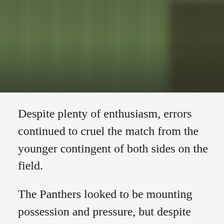[Figure (photo): Rugby or football match photo showing players' legs and feet on a grass field, with a blurred dark figure on the right side]
Despite plenty of enthusiasm, errors continued to cruel the match from the younger contingent of both sides on the field.
The Panthers looked to be mounting possession and pressure, but despite forcing two drop-outs from the Red and Greens, it was all alleviated as they lost the ball soon after.
The mountain men then seemed to take advantage of possession from turning it...